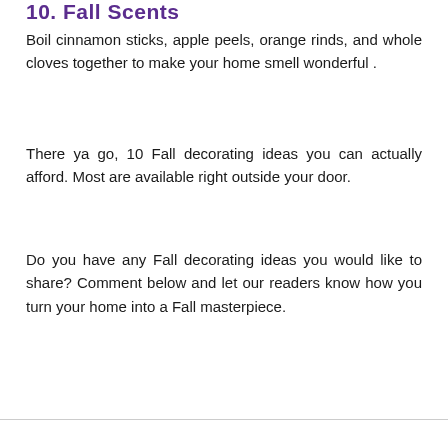10. Fall Scents
Boil cinnamon sticks, apple peels, orange rinds, and whole cloves together to make your home smell wonderful .
There ya go, 10 Fall decorating ideas you can actually afford. Most are available right outside your door.
Do you have any Fall decorating ideas you would like to share? Comment below and let our readers know how you turn your home into a Fall masterpiece.